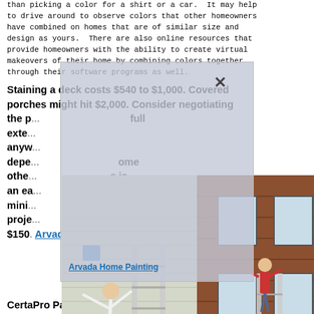than picking a color for a shirt or a car.  It may help to drive around to observe colors that other homeowners have combined on homes that are of similar size and design as yours.  There are also online resources that provide homeowners with the ability to create virtual makeovers of their home by combining colors together through their software programs as well.
Staining a deck costs $540 to $1,000. Covered porches might hit $2,000. Consider negotiating the p... full exte... anyw... depe... ome othe... s is an ea... ge a mini... proje... st $150. Arvada Home Painting
[Figure (photo): Three photos of people and houses with ladders, shown in a strip with a semi-transparent overlay popup containing an X close button]
CertaPro Painters® provides a range of custom